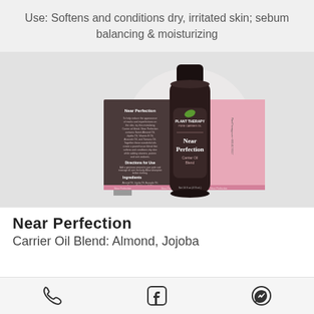Use: Softens and conditions dry, irritated skin; sebum balancing & moisturizing
[Figure (photo): Product photo of Plant Therapy Near Perfection Carrier Oil Blend bottle (dark/amber bottle with black cap) shown alongside unrolled product label with pink background. Label shows product name, ingredients, and directions for use.]
Near Perfection
Carrier Oil Blend: Almond, Jojoba
[Figure (infographic): Bottom navigation bar with phone icon, Facebook icon, and WhatsApp icon]